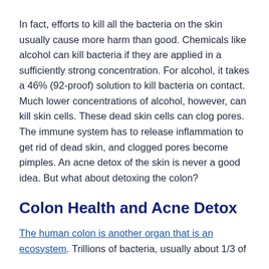In fact, efforts to kill all the bacteria on the skin usually cause more harm than good. Chemicals like alcohol can kill bacteria if they are applied in a sufficiently strong concentration. For alcohol, it takes a 46% (92-proof) solution to kill bacteria on contact. Much lower concentrations of alcohol, however, can kill skin cells. These dead skin cells can clog pores. The immune system has to release inflammation to get rid of dead skin, and clogged pores become pimples. An acne detox of the skin is never a good idea. But what about detoxing the colon?
Colon Health and Acne Detox
The human colon is another organ that is an ecosystem. Trillions of bacteria, usually about 1/3 of